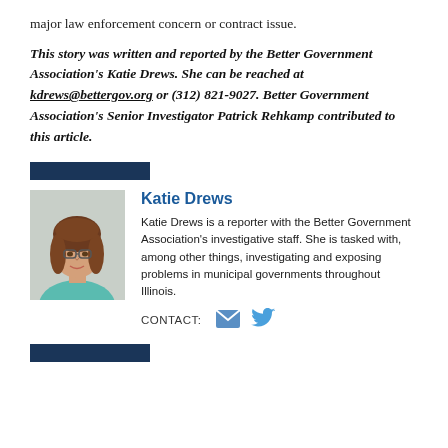major law enforcement concern or contract issue.
This story was written and reported by the Better Government Association's Katie Drews. She can be reached at kdrews@bettergov.org or (312) 821-9027. Better Government Association's Senior Investigator Patrick Rehkamp contributed to this article.
Katie Drews
[Figure (photo): Headshot photo of Katie Drews, a woman with shoulder-length brown hair wearing a teal top.]
Katie Drews is a reporter with the Better Government Association's investigative staff. She is tasked with, among other things, investigating and exposing problems in municipal governments throughout Illinois.
CONTACT: